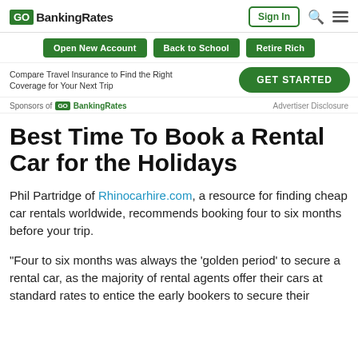GOBankingRates | Sign In
Open New Account | Back to School | Retire Rich
Compare Travel Insurance to Find the Right Coverage for Your Next Trip | GET STARTED
Sponsors of GOBankingRates | Advertiser Disclosure
Best Time To Book a Rental Car for the Holidays
Phil Partridge of Rhinocarhire.com, a resource for finding cheap car rentals worldwide, recommends booking four to six months before your trip.
“Four to six months was always the ‘golden period’ to secure a rental car, as the majority of rental agents offer their cars at standard rates to entice the early bookers to secure their